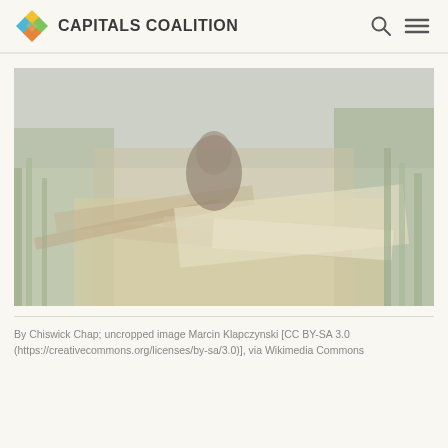CAPITALS COALITION
[Figure (photo): A beaver on its lodge made of sticks and branches at the water's edge, surrounded by green vegetation and reeds. The image has a washed-out, faded quality with muted greens and browns.]
By Chiswick Chap; uncropped image Marcin Klapczynski [CC BY-SA 3.0 (https://creativecommons.org/licenses/by-sa/3.0)], via Wikimedia Commons